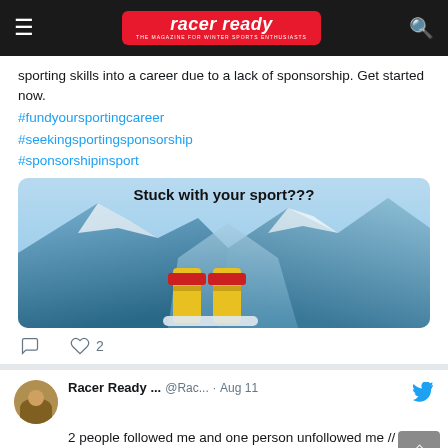racer ready — THE MAGAZINE FOR WINTER SPORTS ENTHUSIASTS
sporting skills into a career due to a lack of sponsorship. Get started now.
#fundyoursportingcareer #seekingsportingsponsorship #sponsorshipinsport
[Figure (photo): Advertisement image showing snowboard boots/bindings held up against a snowy mountain background, with text overlay 'Stuck with your sport???']
2 (likes)
Racer Ready ...  @Rac...  · Aug 11
2 people followed me and one person unfollowed me // automatically checked by fllwrs.com